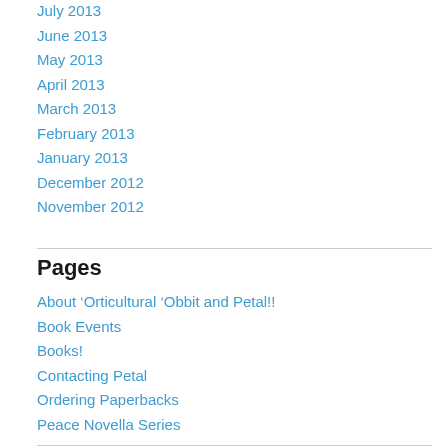July 2013
June 2013
May 2013
April 2013
March 2013
February 2013
January 2013
December 2012
November 2012
Pages
About ‘Orticultural ‘Obbit and Petal!!
Book Events
Books!
Contacting Petal
Ordering Paperbacks
Peace Novella Series